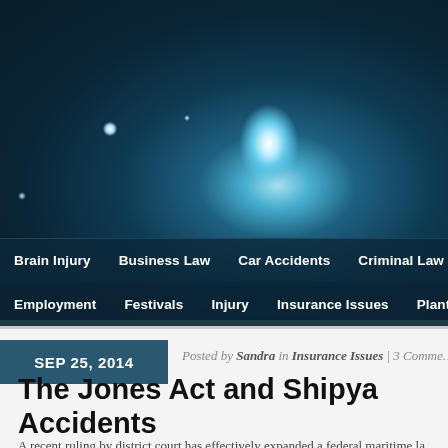[Figure (photo): Dark teal starscape header banner with bright central glow and navigation menu bars]
Brain Injury | Business Law | Car Accidents | Criminal Law | Da... | Employment | Festivals | Injury | Insurance Issues | Plant Explo...
SEP 25, 2014
Posted by Sandra in Insurance Issues | 3 Comme...
The Jones Act and Shipya... Accidents
A recent ruling by district court has effectively expanded a federal maritime la...